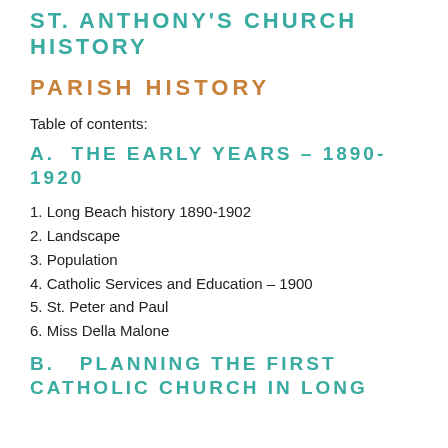ST. ANTHONY'S CHURCH HISTORY
PARISH HISTORY
Table of contents:
A. THE EARLY YEARS – 1890-1920
1. Long Beach history 1890-1902
2. Landscape
3. Population
4. Catholic Services and Education – 1900
5. St. Peter and Paul
6. Miss Della Malone
B. PLANNING THE FIRST CATHOLIC CHURCH IN LONG